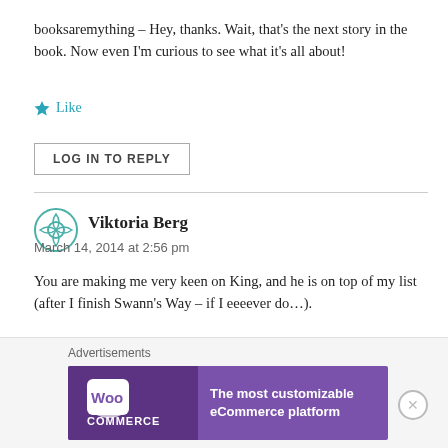booksaremything – Hey, thanks. Wait, that's the next story in the book. Now even I'm curious to see what it's all about!
Like
LOG IN TO REPLY
Viktoria Berg
March 14, 2014 at 2:56 pm
You are making me very keen on King, and he is on top of my list (after I finish Swann's Way – if I eeeever do…).
Like
Advertisements
[Figure (screenshot): WooCommerce advertisement banner with purple background. Left side shows WooCommerce logo (white shopping bag icon with 'Woo' text and 'COMMERCE' underneath). Right side reads 'The most customizable eCommerce platform' in white text.]